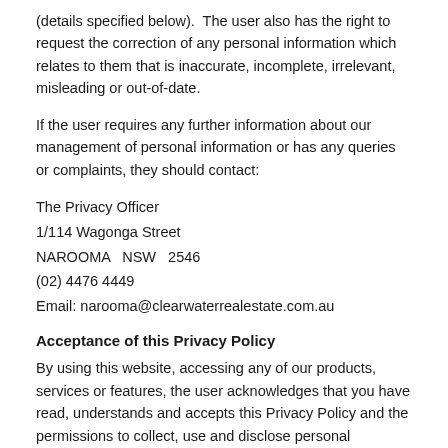(details specified below).  The user also has the right to request the correction of any personal information which relates to them that is inaccurate, incomplete, irrelevant, misleading or out-of-date.
If the user requires any further information about our management of personal information or has any queries or complaints, they should contact:
The Privacy Officer
1/114 Wagonga Street
NAROOMA   NSW   2546
(02) 4476 4449
Email: narooma@clearwaterrealestate.com.au
Acceptance of this Privacy Policy
By using this website, accessing any of our products, services or features, the user acknowledges that you have read, understands and accepts this Privacy Policy and the permissions to collect, use and disclose personal information, and the user authorises us to collect, use and disclose, in accordance with the Act, their personal information for the purposes specified in this Privacy Policy.
Property search